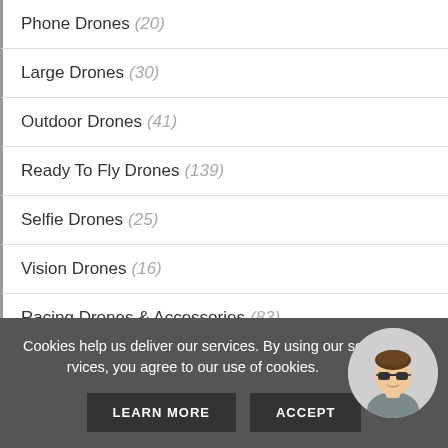Phone Drones (20)
Large Drones (30)
Outdoor Drones (41)
Ready To Fly Drones (139)
Selfie Drones (25)
Vision Drones (16)
Racing Drones & Accessories (83)
All Products
REGION BEST SELLERS LIST
Cookies help us deliver our services. By using our services, you agree to our use of cookies.